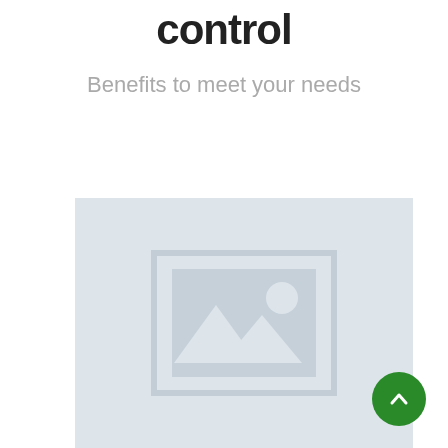control
Benefits to meet your needs
[Figure (illustration): Placeholder image icon with mountain and sun silhouette on light blue-grey background]